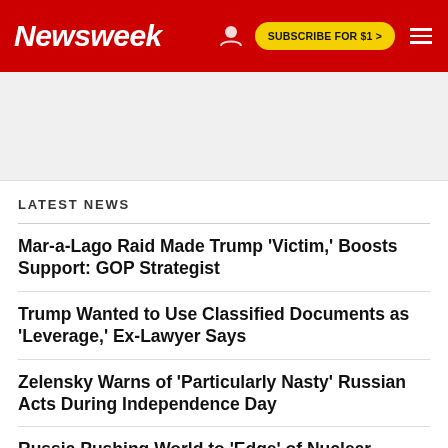Newsweek | SUBSCRIBE FOR $1 >
[Figure (other): Advertisement banner area (gray placeholder)]
LATEST NEWS
Mar-a-Lago Raid Made Trump 'Victim,' Boosts Support: GOP Strategist
Trump Wanted to Use Classified Documents as 'Leverage,' Ex-Lawyer Says
Zelensky Warns of 'Particularly Nasty' Russian Acts During Independence Day
Russia Pushing World to 'Edge' of Nuclear Disaster in